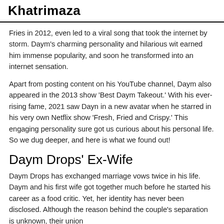Khatrimaza
Fries in 2012, even led to a viral song that took the internet by storm. Daym's charming personality and hilarious wit earned him immense popularity, and soon he transformed into an internet sensation.
Apart from posting content on his YouTube channel, Daym also appeared in the 2013 show 'Best Daym Takeout.' With his ever-rising fame, 2021 saw Dayn in a new avatar when he starred in his very own Netflix show 'Fresh, Fried and Crispy.' This engaging personality sure got us curious about his personal life. So we dug deeper, and here is what we found out!
Daym Drops' Ex-Wife
Daym Drops has exchanged marriage vows twice in his life. Daym and his first wife got together much before he started his career as a food critic. Yet, her identity has never been disclosed. Although the reason behind the couple's separation is unknown, their union